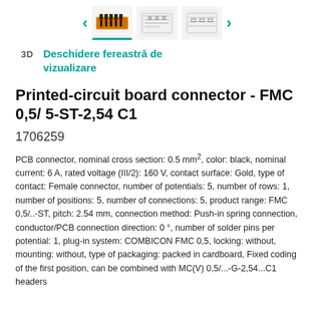[Figure (photo): Product thumbnail images of PCB connector FMC 0,5/5-ST-2,54 C1 shown from multiple angles, with navigation arrows on left and right. First thumbnail is active (highlighted with teal underline), showing orange connector body with black pins. Second and third thumbnails show technical diagrams.]
3D   Deschidere fereastră de vizualizare
Printed-circuit board connector - FMC 0,5/ 5-ST-2,54 C1
1706259
PCB connector, nominal cross section: 0.5 mm², color: black, nominal current: 6 A, rated voltage (III/2): 160 V, contact surface: Gold, type of contact: Female connector, number of potentials: 5, number of rows: 1, number of positions: 5, number of connections: 5, product range: FMC 0,5/..-ST, pitch: 2.54 mm, connection method: Push-in spring connection, conductor/PCB connection direction: 0 °, number of solder pins per potential: 1, plug-in system: COMBICON FMC 0,5, locking: without, mounting: without, type of packaging: packed in cardboard, Fixed coding of the first position, can be combined with MC(V) 0,5/...-G-2,54...C1 headers